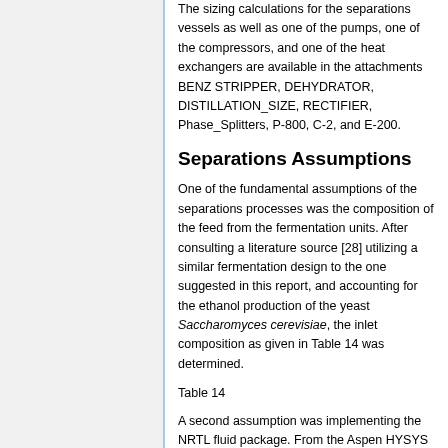The sizing calculations for the separations vessels as well as one of the pumps, one of the compressors, and one of the heat exchangers are available in the attachments BENZ STRIPPER, DEHYDRATOR, DISTILLATION_SIZE, RECTIFIER, Phase_Splitters, P-800, C-2, and E-200.
Separations Assumptions
One of the fundamental assumptions of the separations processes was the composition of the feed from the fermentation units. After consulting a literature source [28] utilizing a similar fermentation design to the one suggested in this report, and accounting for the ethanol production of the yeast Saccharomyces cerevisiae, the inlet composition as given in Table 14 was determined.
Table 14
A second assumption was implementing the NRTL fluid package. From the Aspen HYSYS manual, it was deduced that this